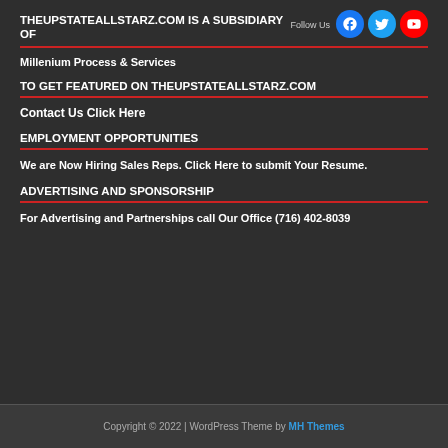THEUPSTATEALLSTARZ.COM IS A SUBSIDIARY OF
Millenium Process & Services
TO GET FEATURED ON THEUPSTATEALLSTARZ.COM
Contact Us Click Here
EMPLOYMENT OPPORTUNITIES
We are Now Hiring Sales Reps. Click Here to submit Your Resume.
ADVERTISING AND SPONSORSHIP
For Advertising and Partnerships call Our Office (716) 402-8039
Copyright © 2022 | WordPress Theme by MH Themes